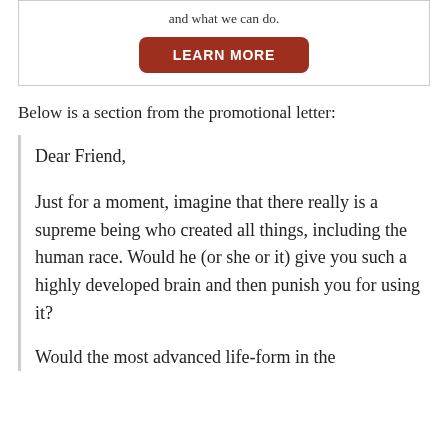and what we can do.
[Figure (other): Red rounded button with white bold text reading LEARN MORE]
Below is a section from the promotional letter:
Dear Friend,
Just for a moment, imagine that there really is a supreme being who created all things, including the human race. Would he (or she or it) give you such a highly developed brain and then punish you for using it?
Would the most advanced life-form in the